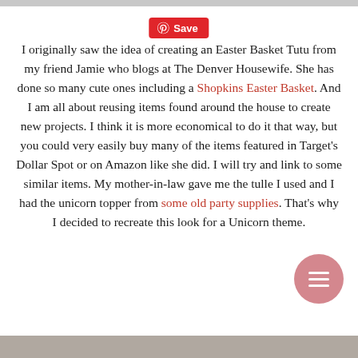Save
I originally saw the idea of creating an Easter Basket Tutu from my friend Jamie who blogs at The Denver Housewife. She has done so many cute ones including a Shopkins Easter Basket. And I am all about reusing items found around the house to create new projects. I think it is more economical to do it that way, but you could very easily buy many of the items featured in Target's Dollar Spot or on Amazon like she did. I will try and link to some similar items. My mother-in-law gave me the tulle I used and I had the unicorn topper from some old party supplies. That's why I decided to recreate this look for a Unicorn theme.